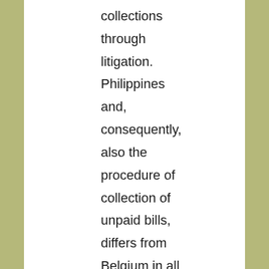collections through litigation. Philippines and, consequently, also the procedure of collection of unpaid bills, differs from Belgium in all manner of ways. And yet there are a number of universal points of reference